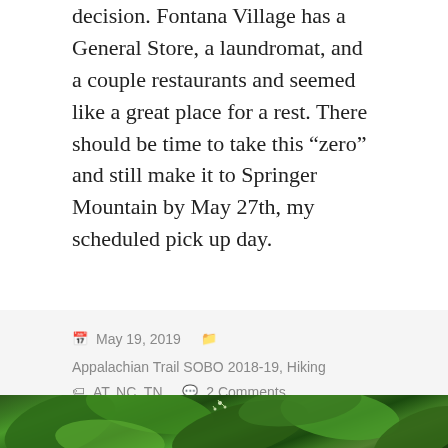decision. Fontana Village has a General Store, a laundromat, and a couple restaurants and seemed like a great place for a rest. There should be time to take this “zero” and still make it to Springer Mountain by May 27th, my scheduled pick up day.
May 19, 2019   Appalachian Trail SOBO 2018-19, Hiking   AT, NC, TN   2 Comments
[Figure (photo): Close-up photo of lush green hosta leaves with small white star-shaped flowers on slender stems.]